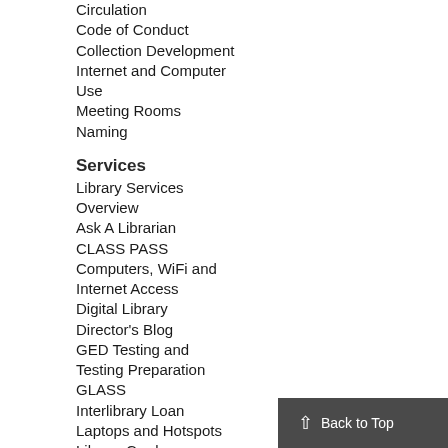Circulation
Code of Conduct
Collection Development
Internet and Computer Use
Meeting Rooms
Naming
Services
Library Services Overview
Ask A Librarian
CLASS PASS
Computers, WiFi and Internet Access
Digital Library
Director's Blog
GED Testing and Testing Preparation
GLASS
Interlibrary Loan
Laptops and Hotspots
Library Cards
Outreach Services